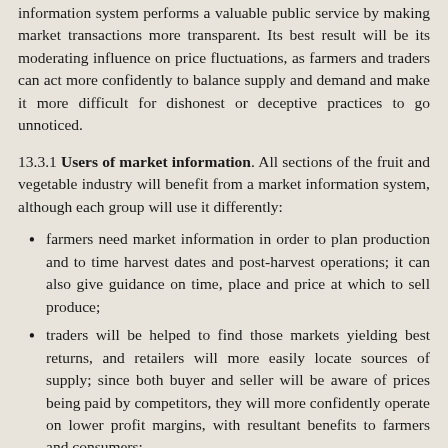information system performs a valuable public service by making market transactions more transparent. Its best result will be its moderating influence on price fluctuations, as farmers and traders can act more confidently to balance supply and demand and make it more difficult for dishonest or deceptive practices to go unnoticed.
13.3.1 Users of market information. All sections of the fruit and vegetable industry will benefit from a market information system, although each group will use it differently:
farmers need market information in order to plan production and to time harvest dates and post-harvest operations; it can also give guidance on time, place and price at which to sell produce;
traders will be helped to find those markets yielding best returns, and retailers will more easily locate sources of supply; since both buyer and seller will be aware of prices being paid by competitors, they will more confidently operate on lower profit margins, with resultant benefits to farmers and consumers;
transport operators can use market information in order to schedule staff and vehicles more easily;
storage agencies will be able to use their facilities more efficiently if they are more alert to market trends;
consumers can benefit by the greater competition a market